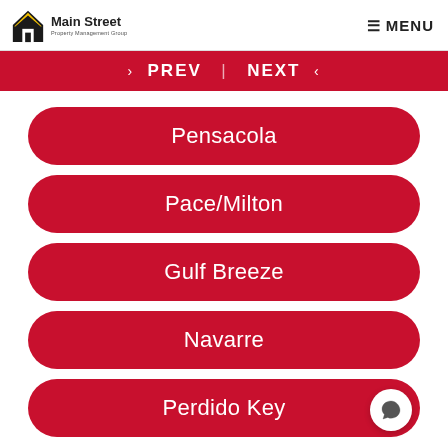Main Street Property Management Group — MENU
‹ PREV | NEXT ›
Pensacola
Pace/Milton
Gulf Breeze
Navarre
Perdido Key